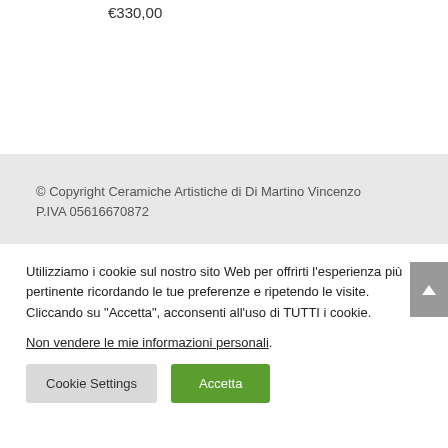€330,00
© Copyright Ceramiche Artistiche di Di Martino Vincenzo P.IVA 05616670872
Utilizziamo i cookie sul nostro sito Web per offrirti l'esperienza più pertinente ricordando le tue preferenze e ripetendo le visite. Cliccando su "Accetta", acconsenti all'uso di TUTTI i cookie.
Non vendere le mie informazioni personali.
Cookie Settings
Accetta